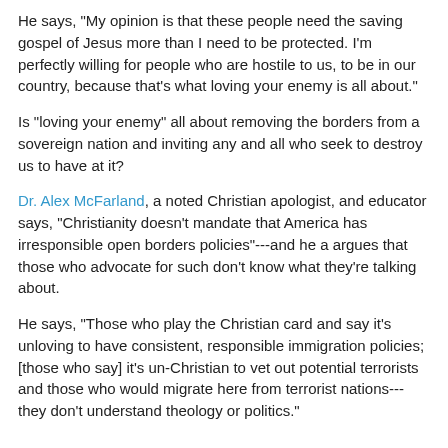He says, "My opinion is that these people need the saving gospel of Jesus more than I need to be protected. I'm perfectly willing for people who are hostile to us, to be in our country, because that's what loving your enemy is all about."
Is "loving your enemy" all about removing the borders from a sovereign nation and inviting any and all who seek to destroy us to have at it?
Dr. Alex McFarland, a noted Christian apologist, and educator says, "Christianity doesn't mandate that America has irresponsible open borders policies"---and he a argues that those who advocate for such don't know what they're talking about.
He says, "Those who play the Christian card and say it's unloving to have consistent, responsible immigration policies; [those who say] it's un-Christian to vet out potential terrorists and those who would migrate here from terrorist nations---they don't understand theology or politics."